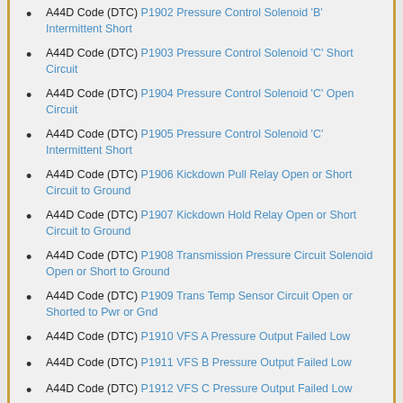A44D Code (DTC) P1902 Pressure Control Solenoid 'B' Intermittent Short
A44D Code (DTC) P1903 Pressure Control Solenoid 'C' Short Circuit
A44D Code (DTC) P1904 Pressure Control Solenoid 'C' Open Circuit
A44D Code (DTC) P1905 Pressure Control Solenoid 'C' Intermittent Short
A44D Code (DTC) P1906 Kickdown Pull Relay Open or Short Circuit to Ground
A44D Code (DTC) P1907 Kickdown Hold Relay Open or Short Circuit to Ground
A44D Code (DTC) P1908 Transmission Pressure Circuit Solenoid Open or Short to Ground
A44D Code (DTC) P1909 Trans Temp Sensor Circuit Open or Shorted to Pwr or Gnd
A44D Code (DTC) P1910 VFS A Pressure Output Failed Low
A44D Code (DTC) P1911 VFS B Pressure Output Failed Low
A44D Code (DTC) P1912 VFS C Pressure Output Failed Low